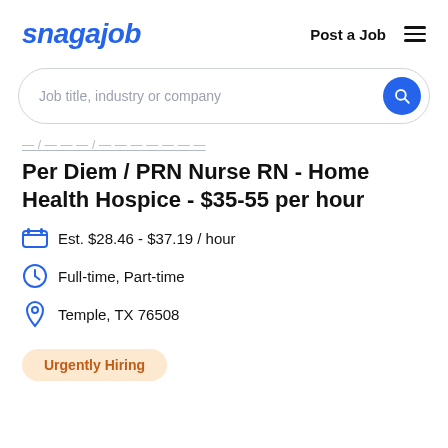snagajob | Post a Job ☰
Job title, industry or company
— / — — — / — — — — — — —
Per Diem / PRN Nurse RN - Home Health Hospice - $35-55 per hour
Est. $28.46 - $37.19 / hour
Full-time, Part-time
Temple, TX 76508
Urgently Hiring